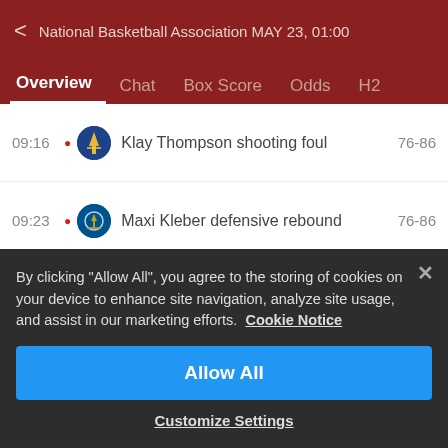< National Basketball Association MAY 23, 01:00
Overview | Chat | Box Score | Odds | H2
09:16 • Klay Thompson shooting foul 76-86
09:23 • Maxi Kleber defensive rebound 76-86
09:25 • Klay Thompson misses shot 76-86
09:32 • Draymond Green enters the game for Kevon Looney 76-86
By clicking "Allow All", you agree to the storing of cookies on your device to enhance site navigation, analyze site usage, and assist in our marketing efforts. Cookie Notice
Allow All
Customize Settings